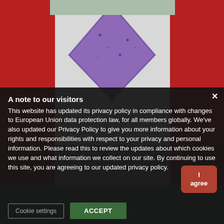[Figure (photo): Background photo showing people wearing red jackets and a white top with a purple decorative pattern, shot from behind/side in an outdoor setting.]
A note to our visitors
This website has updated its privacy policy in compliance with changes to European Union data protection law, for all members globally. We've also updated our Privacy Policy to give you more information about your rights and responsibilities with respect to your privacy and personal information. Please read this to review the updates about which cookies we use and what information we collect on our site. By continuing to use this site, you are agreeing to our updated privacy policy.